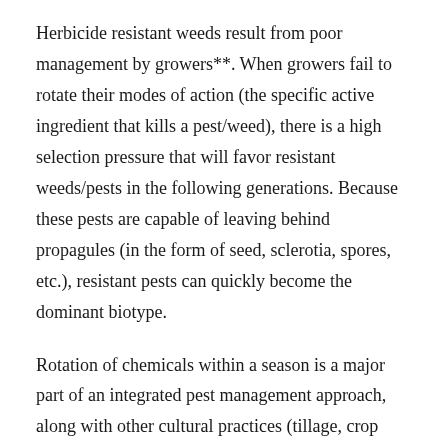Herbicide resistant weeds result from poor management by growers**. When growers fail to rotate their modes of action (the specific active ingredient that kills a pest/weed), there is a high selection pressure that will favor resistant weeds/pests in the following generations. Because these pests are capable of leaving behind propagules (in the form of seed, sclerotia, spores, etc.), resistant pests can quickly become the dominant biotype.
Rotation of chemicals within a season is a major part of an integrated pest management approach, along with other cultural practices (tillage, crop rotation, refuges). A perfect example of the integrated management is the government program requiring growers to included refuge corn in their Bt corn crop. By planting a percentage of your field as non-Bt corn, you reduce the